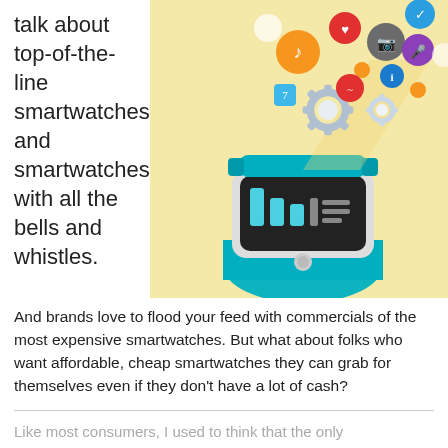talk about top-of-the-line smartwatches and smartwatches with all the bells and whistles.
[Figure (illustration): Illustration of a smartwatch with a blue band and a dark screen showing bar graph icons, with colorful app icons floating above it on a light yellow background including music note, camera, heart, calendar, gear, health, and other app icons.]
And brands love to flood your feed with commercials of the most expensive smartwatches. But what about folks who want affordable, cheap smartwatches they can grab for themselves even if they don't have a lot of cash?
Like most consumers, I used to think that the only